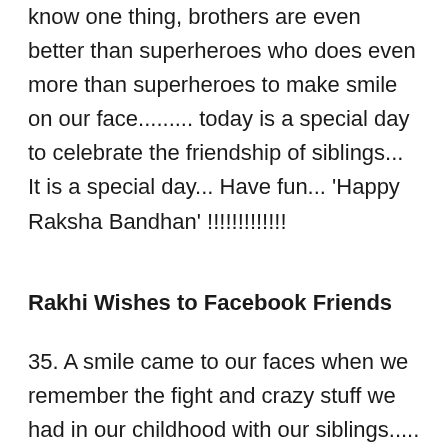know one thing, brothers are even better than superheroes who does even more than superheroes to make smile on our face......... today is a special day to celebrate the friendship of siblings... It is a special day... Have fun... 'Happy Raksha Bandhan' !!!!!!!!!!!!!
Rakhi Wishes to Facebook Friends
35. A smile came to our faces when we remember the fight and crazy stuff we had in our childhood with our siblings..... We